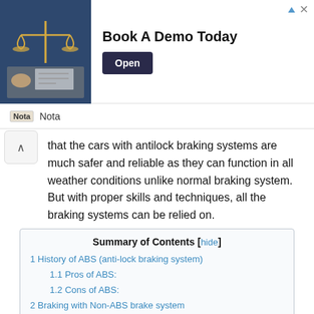[Figure (screenshot): Advertisement banner with an image of legal scales and a person signing documents. Text reads 'Book A Demo Today' with an 'Open' button. Top right shows a blue triangle icon and X close button.]
Nota
that the cars with antilock braking systems are much safer and reliable as they can function in all weather conditions unlike normal braking system. But with proper skills and techniques, all the braking systems can be relied on.
Summary of Contents [hide]
1 History of ABS (anti-lock braking system)
1.1 Pros of ABS:
1.2 Cons of ABS:
2 Braking with Non-ABS brake system
3 Braking with ABS system